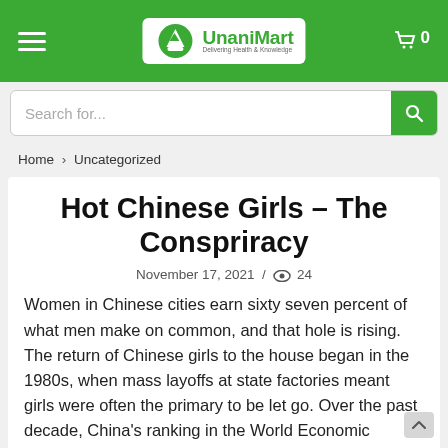UnaniMart — Delivering Health & Knowledge
Search for...
Home > Uncategorized
Hot Chinese Girls – The Conspriracy
November 17, 2021 / 24
Women in Chinese cities earn sixty seven percent of what men make on common, and that hole is rising. The return of Chinese girls to the house began in the 1980s, when mass layoffs at state factories meant girls were often the primary to be let go. Over the past decade, China's ranking in the World Economic Forum's global gender gap index has declined significantly — from 57th out of 139 international locations in 2008 to 103rd in 2018. Gender is